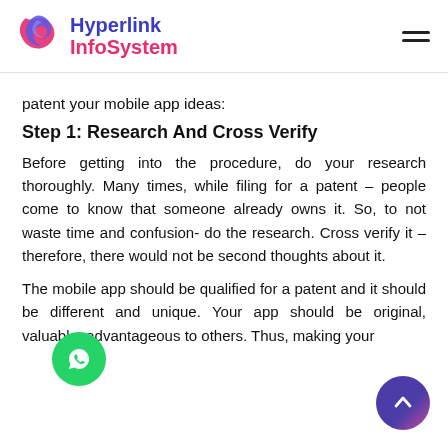Hyperlink InfoSystem
patent your mobile app ideas:
Step 1: Research And Cross Verify
Before getting into the procedure, do your research thoroughly. Many times, while filing for a patent – people come to know that someone already owns it. So, to not waste time and confusion- do the research. Cross verify it – therefore, there would not be second thoughts about it.
The mobile app should be qualified for a patent and it should be different and unique. Your app should be original, valuable, advantageous to others. Thus, making your